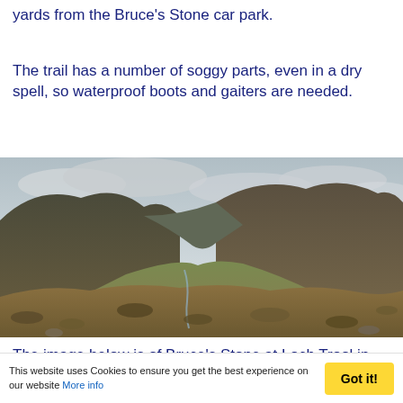yards from the Bruce's Stone car park.
The trail has a number of soggy parts, even in a dry spell, so waterproof boots and gaiters are needed.
[Figure (photo): Landscape photograph of a Scottish Highland valley with rolling hills covered in brown heather and grass, a stream in the valley bottom, and an overcast cloudy sky above.]
The image below is of Bruce's Stone at Loch Trool in the evening with Mulldonoch Hill over the loch. The
This website uses Cookies to ensure you get the best experience on our website More info